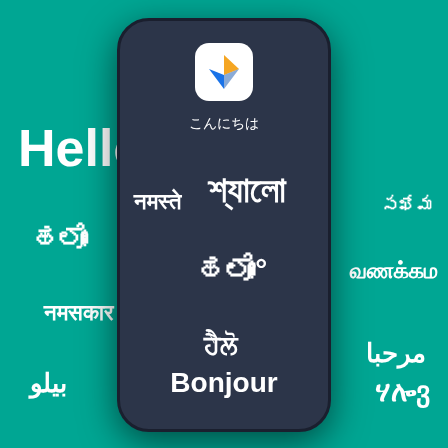[Figure (illustration): Promotional graphic for a translation/messaging app. A smartphone with a dark slate-colored body is centered on a teal background. The phone displays an app icon (orange and blue X/arrow logo on white rounded square) at the top. The phone screen and surrounding teal background show 'Hello' and its translations in multiple Indian and world languages: Hello (English, large white text top-left), こんにちは (Japanese, on screen), सखेम (small, top-right), হ্যালো (Bengali, large on screen), নমস্তে (Hindi, on screen), வணக்கம் (Tamil, right side), হ্যালো (Kannada script on screen), নমস্কার (left side), ہلو (Urdu, right side), ਹੈਲੋ (Punjabi, on screen), مرحبا (Arabic, right side), ሃሎ (Amharic, right), بيلو (Urdu/Arabic left bottom), Bonjour (French, large on screen bottom).]